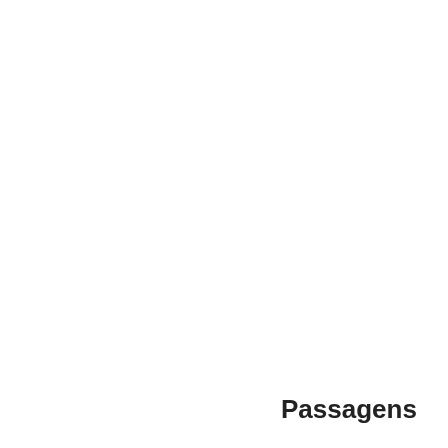[Figure (infographic): Word cloud of biblical index terms in blue, varying font sizes indicating frequency. Words include: judgment, king, kingdom, land, light, live, Lord (large), Luke, Mark, Matt (large), mouth, pass, peace, Peter, pray, preach, Priests, prophets, receive, righteousness, saith unto, say unto, sent, servant, shew, sins, soul, spake, speak, spirit, stand, suffer, thee (very large), thine, things (very large), thou hast, thou shalt, took, turn, Verily, viii, voice, walk, whole, whosoever, δε, εις, εν, και (very large)]
Passagens